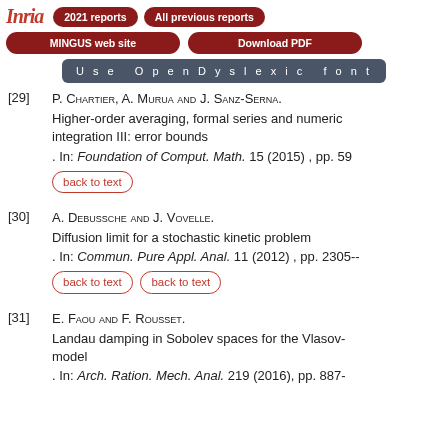Inria | 2021 reports | All previous reports | MINGUS web site | Download PDF | Use OpenDyslexic font
[29] P. Chartier, A. Murua and J. Sanz-Serna. Higher-order averaging, formal series and numeric integration III: error bounds. In: Foundation of Comput. Math. 15 (2015), pp. 59 [back to text]
[30] A. Debussche and J. Vovelle. Diffusion limit for a stochastic kinetic problem. In: Commun. Pure Appl. Anal. 11 (2012), pp. 2305-- [back to text] [back to text]
[31] E. Faou and F. Rousset. Landau damping in Sobolev spaces for the Vlasov- model. In: Arch. Ration. Mech. Anal. 219 (2016), pp. 887-